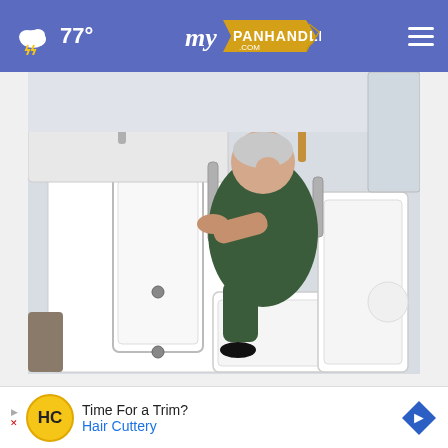77° myPanhandle.com
[Figure (photo): Elderly woman in a dark green robe sitting in a white walk-in bathtub, leaning forward with her hand on the tub door panel. A bathroom sink and fixtures are visible in the background.]
Sneaky Way Ashburn Seniors Are Getting Walk-in Tubs For A Fraction Of The Price
Smart Consumer Update
[Figure (other): Advertisement banner: Time For a Trim? Hair Cuttery — with HC logo and navigation arrow icon]